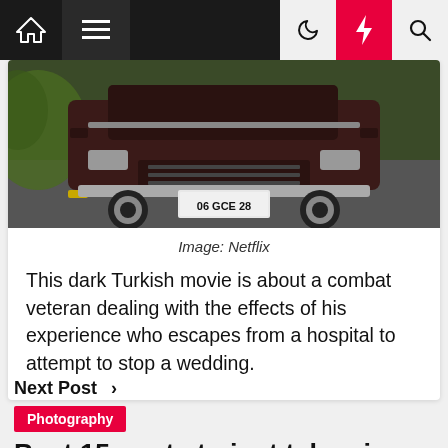Navigation bar with home, menu, dark mode, lightning/trending, and search icons
[Figure (photo): Front view of a dark maroon vintage Mercedes-Benz car with license plate reading '06 GCE 28', photographed on a road with green foliage in background]
Image: Netflix
This dark Turkish movie is about a combat veteran dealing with the effects of his experience who escapes from a hospital to attempt to stop a wedding.
Next Post >
Photography
Best 15 spots to just take pics